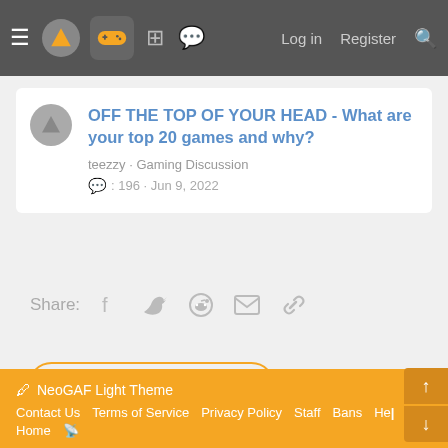NeoGAF navigation bar with hamburger menu, logo, gamepad icon, forum icons, Log in, Register, Search
OFF THE TOP OF YOUR HEAD - What are your top 20 games and why?
teezzy · Gaming Discussion
196 · Jun 9, 2022
Share: Facebook Twitter Reddit Email Link
< GAMING DISCUSSION
NeoGAF Light Theme | Contact Us | Terms of Service | Privacy Policy | Staff | Bans | Help | Home | RSS